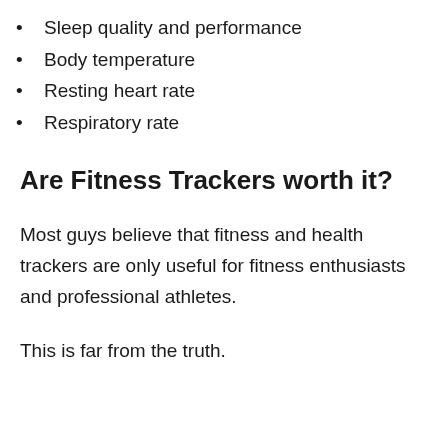Sleep quality and performance
Body temperature
Resting heart rate
Respiratory rate
Are Fitness Trackers worth it?
Most guys believe that fitness and health trackers are only useful for fitness enthusiasts and professional athletes.
This is far from the truth.